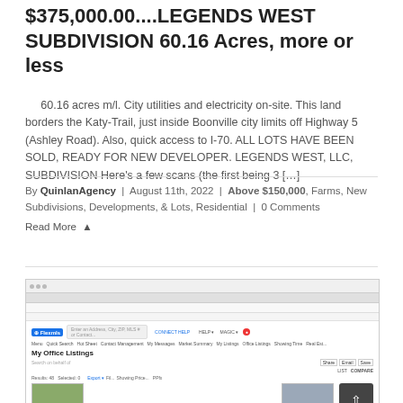$375,000.00....LEGENDS WEST SUBDIVISION 60.16 Acres, more or less
60.16 acres m/l. City utilities and electricity on-site. This land borders the Katy-Trail, just inside Boonville city limits off Highway 5 (Ashley Road). Also, quick access to I-70. ALL LOTS HAVE BEEN SOLD, READY FOR NEW DEVELOPER. LEGENDS WEST, LLC, SUBDIVISION Here's a few scans (the first being 3 […]
By QuinlanAgency | August 11th, 2022 | Above $150,000, Farms, New Subdivisions, Developments, & Lots, Residential | 0 Comments
Read More
[Figure (screenshot): Screenshot of Flexmls browser interface showing 'My Office Listings' page with property listings including thumbnail images of houses]